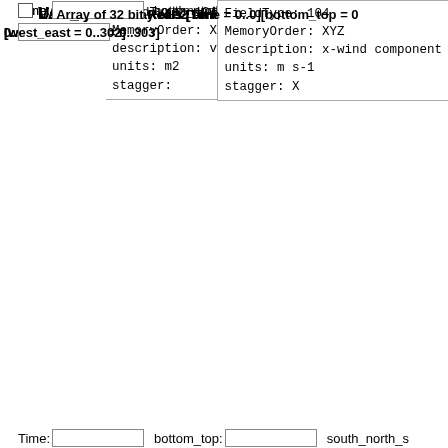FieldType: 104
MemoryOrder: XY
description: variance of subgrid-scale orogr
units: m2
stagger:
LAP_HGT: Array of 32 bit Reals [Time = 0..0][south_north = 0..302]
Time: [input] south_north: [input] west_east: [input]
FieldType: 104
MemoryOrder: XY
description: Laplacian of orography
units: m
stagger:
U: Array of 32 bit Reals [Time = 0..0][bottom_top = 0...][west_east_stag = 0..303]
Time: [input] bottom_top: [input] south_north: [input]
FieldType: 104
MemoryOrder: XYZ
description: x-wind component
units: m s-1
stagger: X
V: Array of 32 bit Reals [Time = 0..0][bottom_top = 0...][west_east = 0..302]
Time: [input] bottom_top: [input] south_north_s: [input]